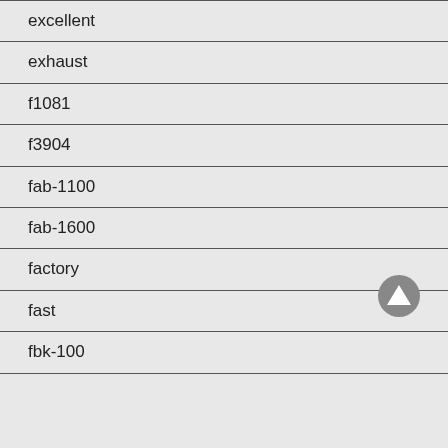excellent
exhaust
f1081
f3904
fab-1100
fab-1600
factory
fast
fbk-100